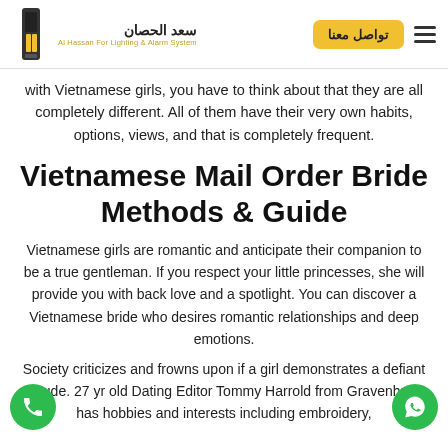سعد الحصان | تواصل معنا | Al Hassan For Lighting & Alarm System
with Vietnamese girls, you have to think about that they are all completely different. All of them have their very own habits, options, views, and that is completely frequent.
Vietnamese Mail Order Bride Methods & Guide
Vietnamese girls are romantic and anticipate their companion to be a true gentleman. If you respect your little princesses, she will provide you with back love and a spotlight. You can discover a Vietnamese bride who desires romantic relationships and deep emotions.
Society criticizes and frowns upon if a girl demonstrates a defiant attitude. 27 yr old Dating Editor Tommy Harrold from Gravenhurst, has hobbies and interests including embroidery,